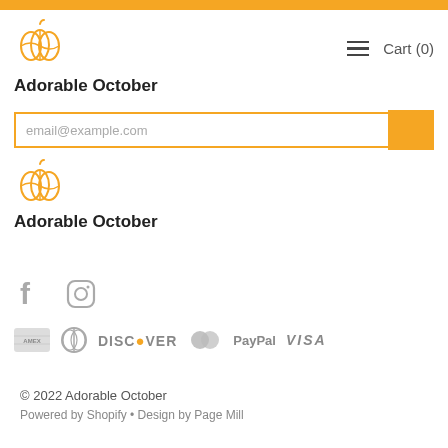Adorable October — Cart (0) navigation header
[Figure (logo): Orange pumpkin logo icon with text 'Adorable October' below]
[Figure (screenshot): Email input search bar with orange submit button, showing placeholder text 'email@example.com']
[Figure (logo): Orange pumpkin logo icon (repeated in footer) with text 'Adorable October' below]
[Figure (infographic): Social media icons: Facebook (f) and Instagram (circle camera) in grey]
[Figure (infographic): Payment icons: American Express, Diners Club, Discover, Mastercard, PayPal, Visa — all in grey]
© 2022 Adorable October
Powered by Shopify • Design by Page Mill